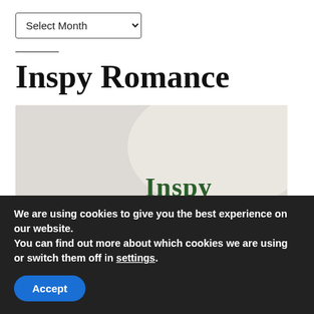Select Month
Inspy Romance
[Figure (illustration): Inspy Romance banner image showing two yellow mugs of tea/coffee on a windowsill with pink flowers, with the text 'Inspy Romance' — 'Inspy' in dark green serif font and 'Romance' in red cursive script.]
We are using cookies to give you the best experience on our website.
You can find out more about which cookies we are using or switch them off in settings.
Accept